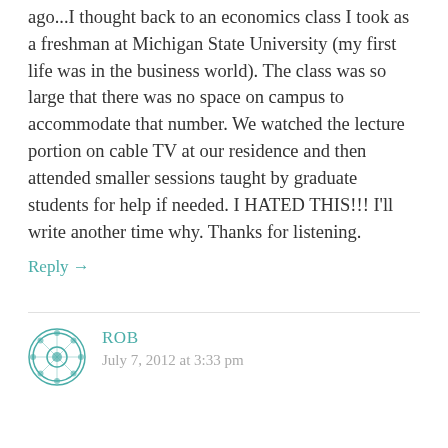ago...I thought back to an economics class I took as a freshman at Michigan State University (my first life was in the business world). The class was so large that there was no space on campus to accommodate that number. We watched the lecture portion on cable TV at our residence and then attended smaller sessions taught by graduate students for help if needed. I HATED THIS!!! I'll write another time why. Thanks for listening.
Reply →
ROB
July 7, 2012 at 3:33 pm